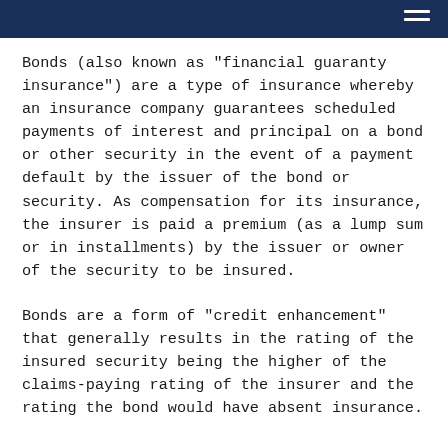Bonds (also known as "financial guaranty insurance") are a type of insurance whereby an insurance company guarantees scheduled payments of interest and principal on a bond or other security in the event of a payment default by the issuer of the bond or security. As compensation for its insurance, the insurer is paid a premium (as a lump sum or in installments) by the issuer or owner of the security to be insured.
Bonds are a form of "credit enhancement" that generally results in the rating of the insured security being the higher of the claims-paying rating of the insurer and the rating the bond would have absent insurance.